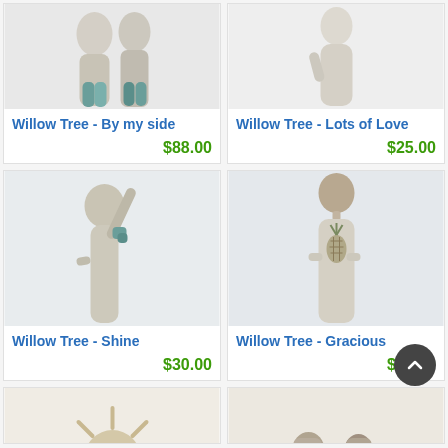[Figure (photo): Willow Tree figurine - By my side, two figures close together with teal/blue gradient bottom]
Willow Tree - By my side
$88.00
[Figure (photo): Willow Tree figurine - Lots of Love, light cream colored figure]
Willow Tree - Lots of Love
$25.00
[Figure (photo): Willow Tree figurine - Shine, female figure with arm raised wearing teal accents]
Willow Tree - Shine
$30.00
[Figure (photo): Willow Tree figurine - Gracious, female figure with pineapple design on dress, arms crossed]
Willow Tree - Gracious
$25.00
[Figure (photo): Willow Tree figurine partially visible at bottom left - sun/star design]
[Figure (photo): Willow Tree figurine partially visible at bottom right - two seated figures]